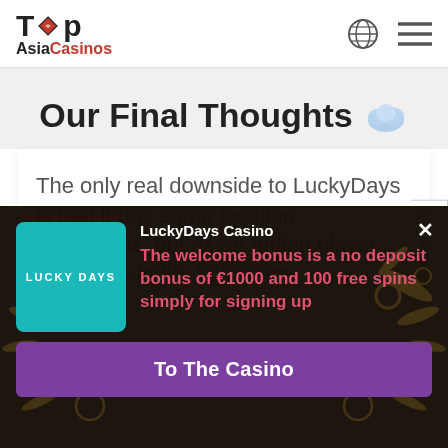Top Asia Casinos
Our Final Thoughts
The only real downside to LuckyDays is that it has some location restrictions, but as an Indian player located in India, this is not
Subscribe for E
LuckyDays Casino
The welcome bonus is a no deposit bonus of €1000 and 100 free spins simply for signing up
To The Casino